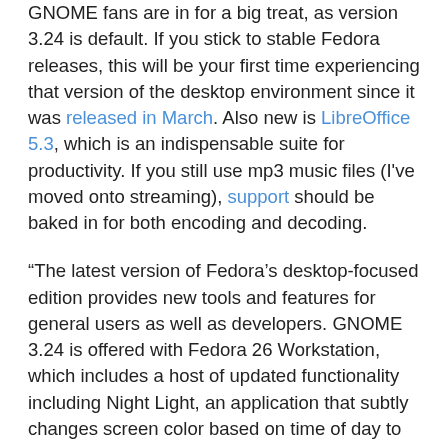GNOME fans are in for a big treat, as version 3.24 is default. If you stick to stable Fedora releases, this will be your first time experiencing that version of the desktop environment since it was released in March. Also new is LibreOffice 5.3, which is an indispensable suite for productivity. If you still use mp3 music files (I've moved onto streaming), support should be baked in for both encoding and decoding.
“The latest version of Fedora’s desktop-focused edition provides new tools and features for general users as well as developers. GNOME 3.24 is offered with Fedora 26 Workstation, which includes a host of updated functionality including Night Light, an application that subtly changes screen color based on time of day to reduce effect on sleep patterns, and LibreOffice 5.3, the latest update to the popular open source office productivity suite. For developers, GNOME 3.24 provides matured versions of Builder and Flatpak to make